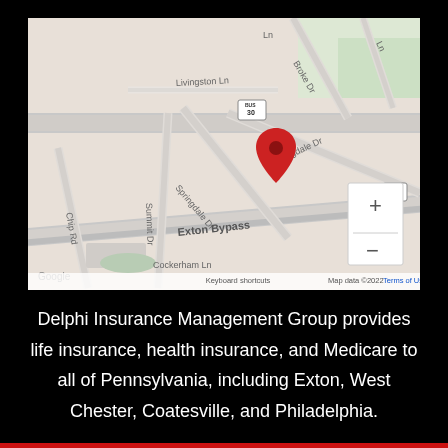[Figure (map): Google Maps screenshot showing the area around Springdale Dr and Exton Bypass in Exton, PA. A red location pin is placed near the intersection of Springdale Dr. Roads visible include Livingston Ln, Summit Dr, Chip Rd, Cockerham Ln, Exton Bypass, and route US-30 BUS. Map data ©2022 Google. Zoom controls (+/-) visible at bottom right. Footer shows: Keyboard shortcuts  Map data ©2022  Terms of Use.]
Delphi Insurance Management Group provides life insurance, health insurance, and Medicare to all of Pennsylvania, including Exton, West Chester, Coatesville, and Philadelphia.